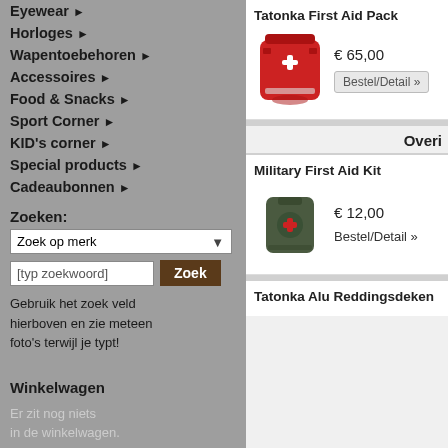Eyewear ▶
Horloges ▶
Wapentoebehoren ▶
Accessoires ▶
Food & Snacks ▶
Sport Corner ▶
KID's corner ▶
Special products ▶
Cadeaubonnen ▶
Zoeken:
Zoek op merk
[typ zoekwoord]
Gebruik het zoek veld hierboven en zie meteen foto's terwijl je typt!
Winkelwagen
Er zit nog niets in de winkelwagen.
Tatonka First Aid Pack
€ 65,00
Bestel/Detail »
Overi
Military First Aid Kit
€ 12,00
Bestel/Detail »
Tatonka Alu Reddingsdeken